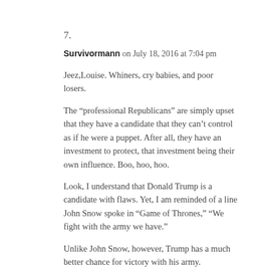7.
Survivormann on July 18, 2016 at 7:04 pm
Jeez,Louise. Whiners, cry babies, and poor losers.
The “professional Republicans” are simply upset that they have a candidate that they can’t control as if he were a puppet. After all, they have an investment to protect, that investment being their own influence. Boo, hoo, hoo.
Look, I understand that Donald Trump is a candidate with flaws. Yet, I am reminded of a line John Snow spoke in “Game of Thrones,” “We fight with the army we have.”
Unlike John Snow, however, Trump has a much better chance for victory with his army.